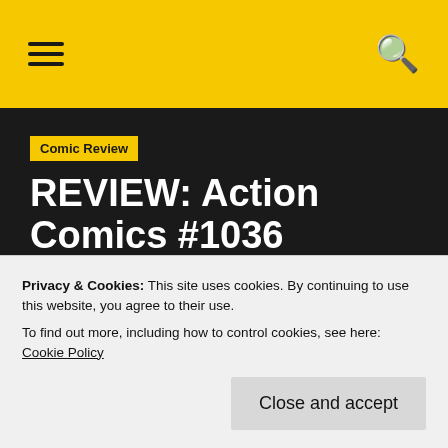≡  🔍
Comic Review
REVIEW: Action Comics #1036
10 months ago  The Aspiring Kryptonian
Action Comics #1036 is an excellent and
missed.
Privacy & Cookies: This site uses cookies. By continuing to use this website, you agree to their use.
To find out more, including how to control cookies, see here: Cookie Policy
Close and accept